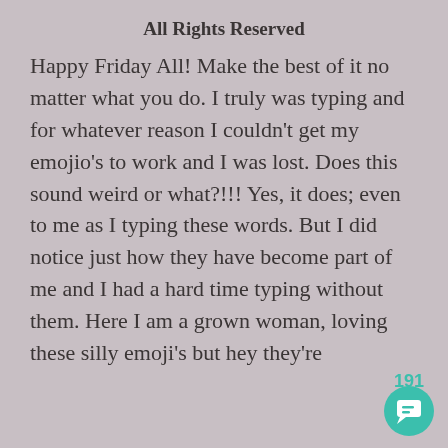All Rights Reserved
Happy Friday All! Make the best of it no matter what you do. I truly was typing and for whatever reason I couldn't get my emojio's to work and I was lost. Does this sound weird or what?!!! Yes, it does; even to me as I typing these words. But I did notice just how they have become part of me and I had a hard time typing without them. Here I am a grown woman, loving these silly emoji's but hey they're